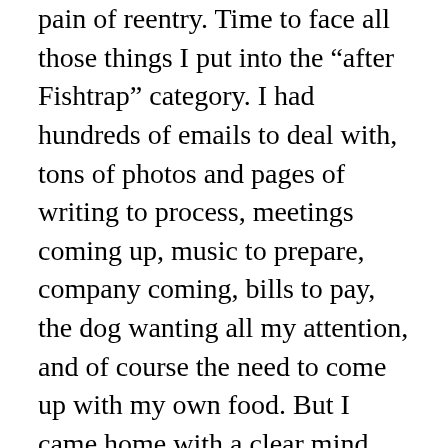pain of reentry. Time to face all those things I put into the “after Fishtrap” category. I had hundreds of emails to deal with, tons of photos and pages of writing to process, meetings coming up, music to prepare, company coming, bills to pay, the dog wanting all my attention, and of course the need to come up with my own food. But I came home with a clear mind and thoughts about how to make my everyday life better. I’m looking at everything with fresh eyes. That’s a value of a retreat.
I long for the simplicity of my yurt, one room with only the things that fit in my car, and only the Fishtrap schedule to control my time. But I’m also enjoying sleeping in my own bed, snuggling with my dog, choosing my own food, reconnecting with my friends, and getting back